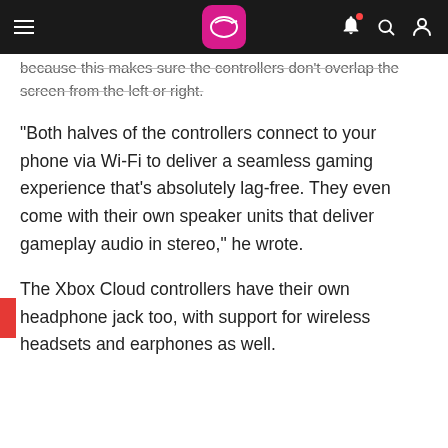Navigation bar with hamburger menu, logo, bell icon, search icon, user icon
because this makes sure the controllers don't overlap the screen from the left or right.
"Both halves of the controllers connect to your phone via Wi-Fi to deliver a seamless gaming experience that's absolutely lag-free. They even come with their own speaker units that deliver gameplay audio in stereo," he wrote.
The Xbox Cloud controllers have their own headphone jack too, with support for wireless headsets and earphones as well.